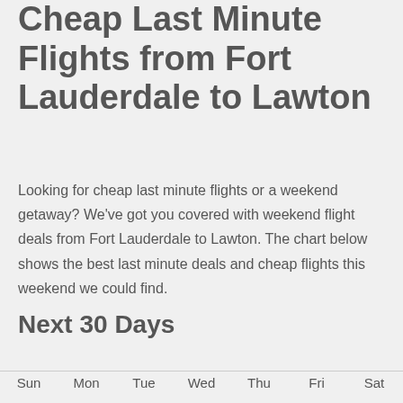Cheap Last Minute Flights from Fort Lauderdale to Lawton
Looking for cheap last minute flights or a weekend getaway? We've got you covered with weekend flight deals from Fort Lauderdale to Lawton. The chart below shows the best last minute deals and cheap flights this weekend we could find.
Next 30 Days
| Sun | Mon | Tue | Wed | Thu | Fri | Sat |
| --- | --- | --- | --- | --- | --- | --- |
| 7 | 8 | 9 | 10 | 11 | 12 | 13 |